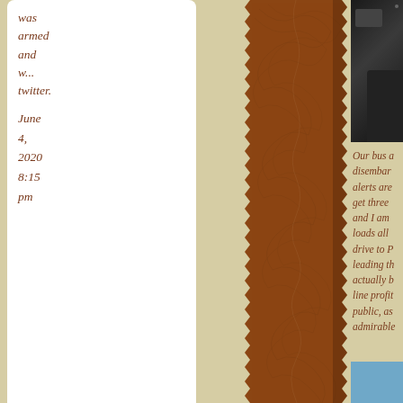was armed and w... twitter.
June 4, 2020 8:15 pm
[Figure (illustration): Dark bag/luggage photo in top right corner]
This post about Bratwurst has me drooling all over
[Figure (illustration): Brown leather texture panel in center with zigzag edges]
Our bus a disembar alerts are get three and I am loads all drive to P leading th actually b line profit public, as admirable
[Figure (illustration): Light blue box in bottom right corner]